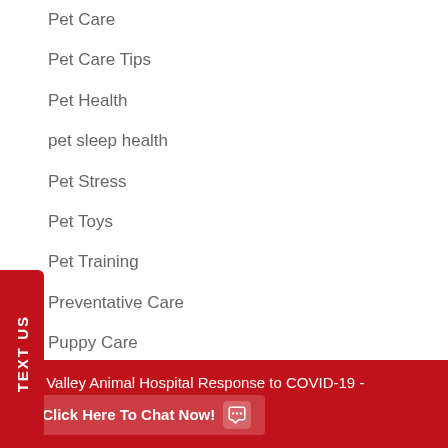Pet Care
Pet Care Tips
Pet Health
pet sleep health
Pet Stress
Pet Toys
Pet Training
Preventative Care
Puppy Care
Senior Dogs
Skin Irritations
East Valley Animal Hospital Response to COVID-19 -
Click Here To Chat Now!